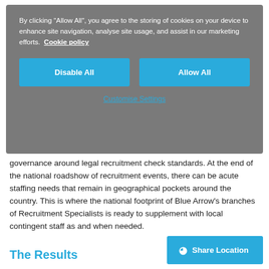[Figure (screenshot): Cookie consent overlay with grey background. Contains message about cookies, 'Disable All' and 'Allow All' buttons, and a 'Customise Settings' link.]
governance around legal recruitment check standards. At the end of the national roadshow of recruitment events, there can be acute staffing needs that remain in geographical pockets around the country. This is where the national footprint of Blue Arrow's branches of Recruitment Specialists is ready to supplement with local contingent staff as and when needed.
The Results